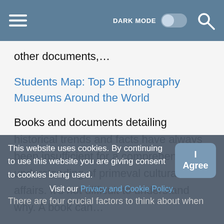DARK MODE [toggle] [search]
other documents,...
Students Map: Top 5 Ethnography Museums Around the World
Books and documents detailing historical trends and facts have always been insufficient for a comprehensive understanding of primeval cultural affairs. It's not difficult to understand why. A book can…
4 Vital Things to Think About When Updating Your
This website uses cookies. By continuing to use this website you are giving consent to cookies being used. Visit our Privacy and Cookie Policy.
There are four crucial factors to think about when